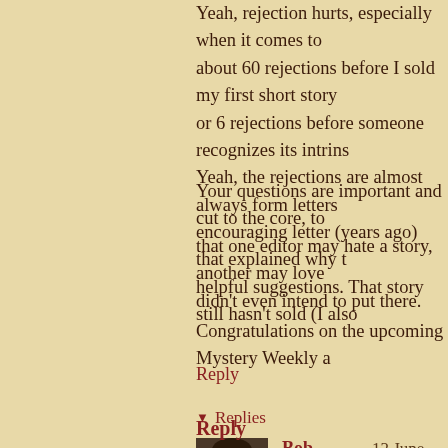Yeah, rejection hurts, especially when it comes to... about 60 rejections before I sold my first short story... or 6 rejections before someone recognizes its intrins... Yeah, the rejections are almost always form letters... encouraging letter (years ago) that explained why t... helpful suggestions. That story still hasn't sold (I also
Your questions are important and cut to the core, to... that one editor may hate a story, another may love ... didn't even intend to put there.
Congratulations on the upcoming Mystery Weekly a...
Reply
▾ Replies
Bob Mangeot  12 June, 2021 12:39
Thanks much, and double thanks for commis...
Reply